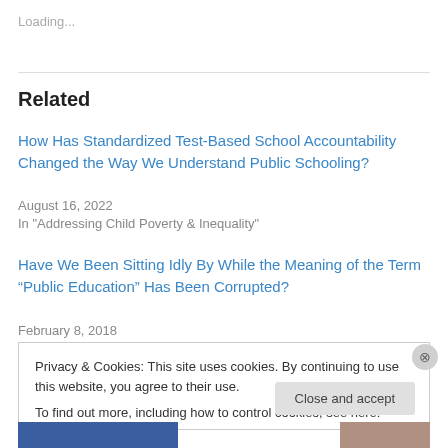Loading...
Related
How Has Standardized Test-Based School Accountability Changed the Way We Understand Public Schooling?
August 16, 2022
In "Addressing Child Poverty & Inequality"
Have We Been Sitting Idly By While the Meaning of the Term “Public Education” Has Been Corrupted?
February 8, 2018
Privacy & Cookies: This site uses cookies. By continuing to use this website, you agree to their use.
To find out more, including how to control cookies, see here: Cookie Policy
Close and accept